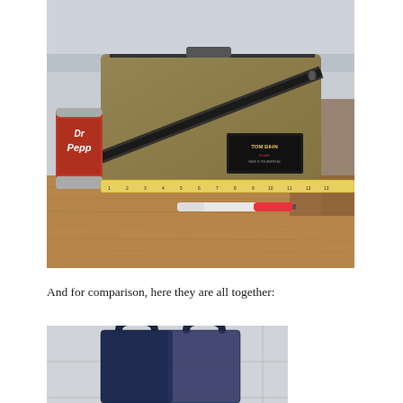[Figure (photo): Tom Bihn bag (olive/tan colored with diagonal black zipper stripe and Tom Bihn label) photographed on a wooden table next to a Dr Pepper can and a measuring tape showing approximately 12 inches width, with a Sharpie marker below for scale.]
And for comparison, here they are all together:
[Figure (photo): Partial view of bags arranged together for comparison, showing dark navy/black bags with handles on what appears to be a tiled floor.]